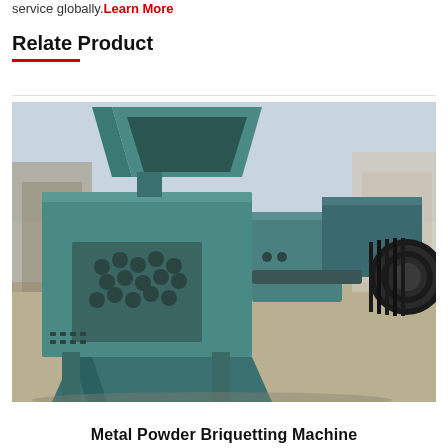service globally. Learn More
Relate Product
[Figure (photo): A teal/green metal powder briquetting machine photographed outdoors on a concrete surface, showing the main press unit with hopper on top, drive mechanism with belt pulleys on the right, and output chute at the bottom.]
Metal Powder Briquetting Machine